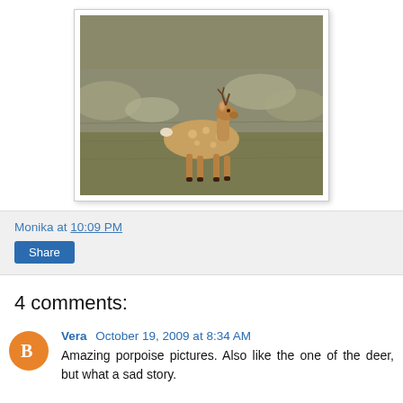[Figure (photo): A deer (fallow deer with antlers) standing on rocky, grassy terrain with large stones in the background.]
Monika at 10:09 PM
Share
4 comments:
Vera  October 19, 2009 at 8:34 AM
Amazing porpoise pictures. Also like the one of the deer, but what a sad story.